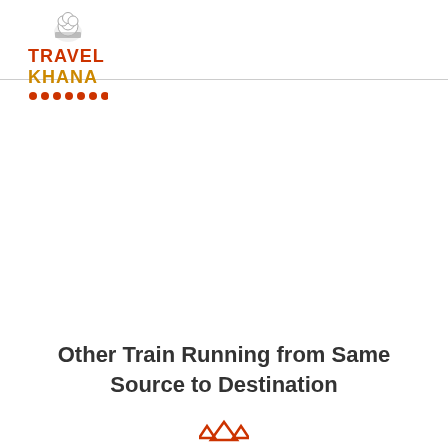TravelKhana
Other Train Running from Same Source to Destination